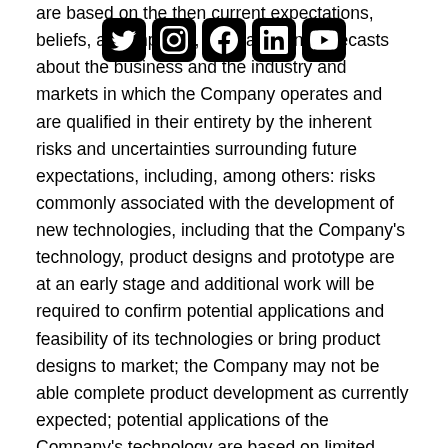[Figure (other): Social media icons bar: Twitter, Instagram, Facebook, LinkedIn, YouTube]
are based on the then current expectations, beliefs, assumptions, estimates and forecasts about the business and the industry and markets in which the Company operates and are qualified in their entirety by the inherent risks and uncertainties surrounding future expectations, including, among others: risks commonly associated with the development of new technologies, including that the Company's technology, product designs and prototype are at an early stage and additional work will be required to confirm potential applications and feasibility of its technologies or bring product designs to market; the Company may not be able complete product development as currently expected; potential applications of the Company's technology are based on limited studies and may not be representative of the broader market; the risk that prototypes and designs may not achieve expected results; the Company may not be able to commercialize its technology; the Company may not be able to source components for its products on a cost-effective basis; the